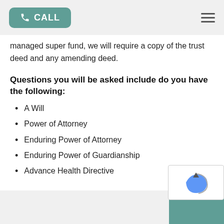CALL
managed super fund, we will require a copy of the trust deed and any amending deed.
Questions you will be asked include do you have the following:
A Will
Power of Attorney
Enduring Power of Attorney
Enduring Power of Guardianship
Advance Health Directive